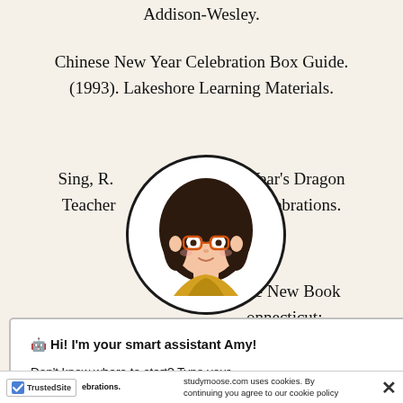Addison-Wesley.
Chinese New Year Celebration Box Guide. (1993). Lakeshore Learning Materials.
Sing, R. … nese New Year's Dragon Teacher … lticultural Celebrations. … lum Press.
… he New Book … onnecticut:
… ogy. (1996). … vailable: … ew year.html.
Warren, J. & McKin… brations.
[Figure (illustration): Chat popup with Amy avatar (illustrated woman with glasses). Title: Hi! I'm your smart assistant Amy! Body: Don't know where to start? Type your requirements and I'll connect you to an academic expert within 3 minutes. Button: GET HELP WITH YOUR ASSIGNMENT. Close X button top right.]
studymoose.com uses cookies. By continuing you agree to our cookie policy
[Figure (logo): TrustedSite badge with green checkmark]